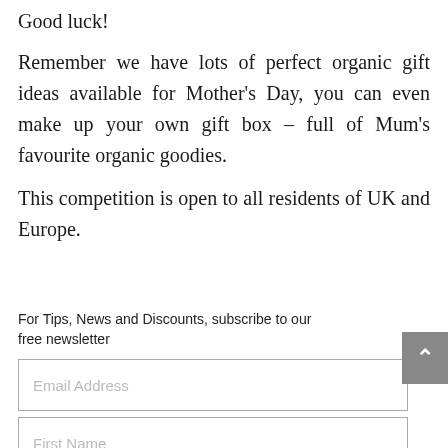Good luck!
Remember we have lots of perfect organic gift ideas available for Mother's Day, you can even make up your own gift box – full of Mum's favourite organic goodies.
This competition is open to all residents of UK and Europe.
For Tips, News and Discounts, subscribe to our free newsletter
Email Address
First Name
Last Name